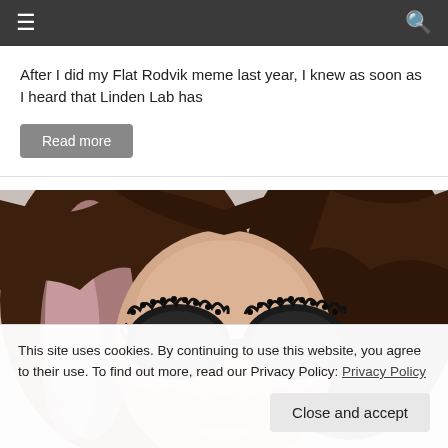≡  🔍
After I did my Flat Rodvik meme last year, I knew as soon as I heard that Linden Lab has
Read more
[Figure (illustration): Digital illustration of a stylized female avatar with long wavy brown and pink hair, wearing ornate black lace-trimmed sunglasses, with exaggerated full lips and facial features typical of Second Life virtual world avatars.]
This site uses cookies. By continuing to use this website, you agree to their use. To find out more, read our Privacy Policy: Privacy Policy
Close and accept